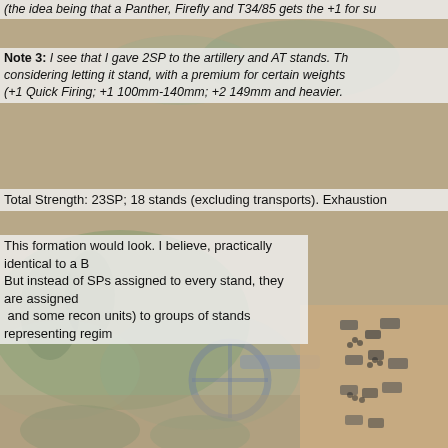(the idea being that a Panther, Firefly and T34/85 gets the +1 for sup…
Note 3: I see that I gave 2SP to the artillery and AT stands.  Th… considering letting it stand, with a premium for certain weights (+1 Quick Firing; +1 100mm-140mm; +2 149mm and heavier.
Total Strength: 23SP; 18 stands (excluding transports).  Exhaustion…
This formation would look. I believe, practically identical to a B… But instead of SPs assigned to every stand, they are assigned… and some recon units) to groups of stands representing regim…
[Figure (photo): Background photo of miniature wargame figures — soldiers and artillery pieces on a battlefield, blurred/faded as page background. Also a second photo in lower right of miniature vehicles/figures arranged on a tan surface.]